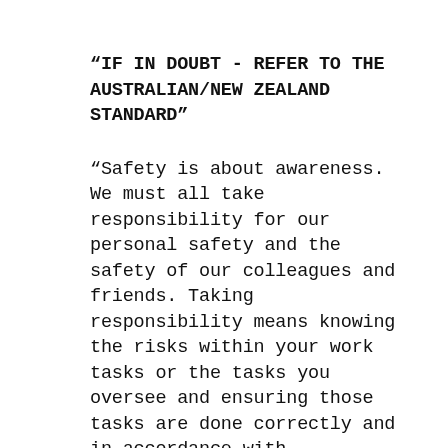“IF IN DOUBT - REFER TO THE AUSTRALIAN/NEW ZEALAND STANDARD”
“Safety is about awareness. We must all take responsibility for our personal safety and the safety of our colleagues and friends. Taking responsibility means knowing the risks within your work tasks or the tasks you oversee and ensuring those tasks are done correctly and in accordance with Australian/ New Zealand Standards, Environment, Work/Health & Safety Policies and Procedures”
“Static Electricity and Lightning are often ignored as part of the manufacturing process. Apart from